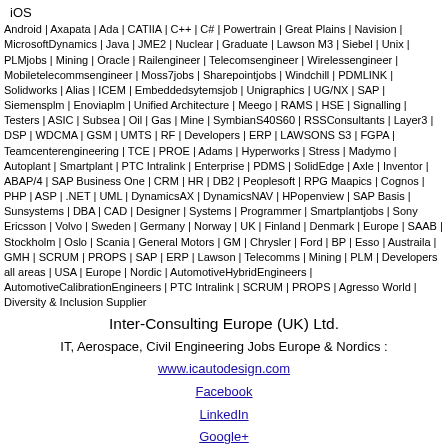iOS
Android | Axapata | Ada | CATIIA | C++ | C# | Powertrain | Great Plains | Navision | MicrosoftDynamics | Java | JME2 | Nuclear | Graduate | Lawson M3 | Siebel | Unix | PLMjobs | Mining | Oracle | Railengineer | Telecomsengineer | Wirelessengineer | Mobiletelecommsengineer | Moss7jobs | Sharepointjobs | Windchill | PDMLINK | Solidworks | Alias | ICEM | Embeddedsytemsjob | Unigraphics | UG/NX | SAP | Siemensplm | Enoviaplm | Unified Architecture | Meego | RAMS | HSE | Signalling | Testers | ASIC | Subsea | Oil | Gas | Mine | SymbianS40S60 | RSSConsultants | Layer3 | DSP | WDCMA | GSM | UMTS | RF | Developers | ERP | LAWSONS S3 | FGPA | Teamcenterengineering | TCE | PROE | Adams | Hyperworks | Stress | Madymo | Autoplant | Smartplant | PTC Intralink | Enterprise | PDMS | SolidEdge | Axle | Inventor | ABAP/4 | SAP Business One | CRM | HR | DB2 | Peoplesoft | RPG Maapics | Cognos | PHP | ASP | .NET | UML | DynamicsAX | DynamicsNAV | HPopenview | SAP Basis | Sunsystems | DBA | CAD | Designer | Systems | Programmer | Smartplantjobs | Sony Ericsson | Volvo | Sweden | Germany | Norway | UK | Finland | Denmark | Europe | SAAB | Stockholm | Oslo | Scania | General Motors | GM | Chrysler | Ford | BP | Esso | Austraila | GMH | SCRUM | PROPS | SAP | ERP | Lawson | Telecomms | Mining | PLM | Developers all areas | USA | Europe | Nordic | AutomotiveHybridEngineers | AutomotiveCalibrationEngineers | PTC Intralink | SCRUM | PROPS | Agresso World | Diversity & Inclusion Supplier
Inter-Consulting Europe (UK) Ltd.
IT, Aerospace, Civil Engineering Jobs Europe & Nordics :
www.icautodesign.com
Facebook
LinkedIn
Google+
[Figure (illustration): EU flag and UK flag icons side by side]
All content © Inter-Consulting Europe (UK) Limited, Inter-Consulting Europe Ltd. 2018
ICEURO.com